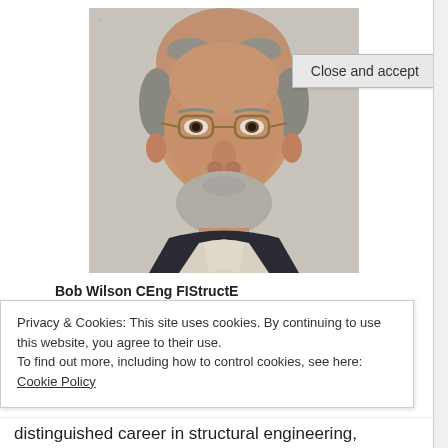[Figure (photo): Headshot photo of Bob Wilson, an older man with glasses and a grey beard, wearing a dark jacket, against a white textured wall background.]
Bob Wilson CEng FIStructE
Privacy & Cookies: This site uses cookies. By continuing to use this website, you agree to their use.
To find out more, including how to control cookies, see here: Cookie Policy
Close and accept
distinguished career in structural engineering,